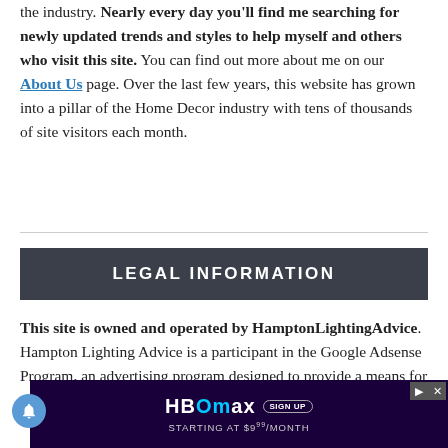the industry. Nearly every day you'll find me searching for newly updated trends and styles to help myself and others who visit this site. You can find out more about me on our About Us page. Over the last few years, this website has grown into a pillar of the Home Decor industry with tens of thousands of site visitors each month.
LEGAL INFORMATION
This site is owned and operated by HamptonLightingAdvice. Hampton Lighting Advice is a participant in the Google Adsense Program, an advertising program designed to provide a means for sites to earn advertising fees by linking to and advertising adver...
[Figure (other): HBO Max advertisement banner: 'SIGN UP STARTING AT $9.99/MONTH']